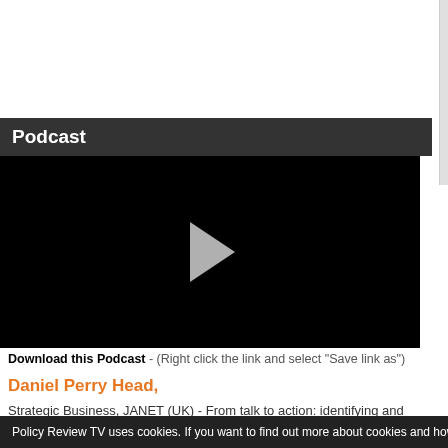Podcast
[Figure (screenshot): Black video player area with a grey play button triangle in the center]
Download this Podcast - (Right click the link and select "Save link as")
Daniel Perry Head,
Strategic Business, JANET (UK) - From talk to action: identifying and overcoming the obstacles of sh...
Policy Review TV uses cookies. If you want to find out more about cookies and how